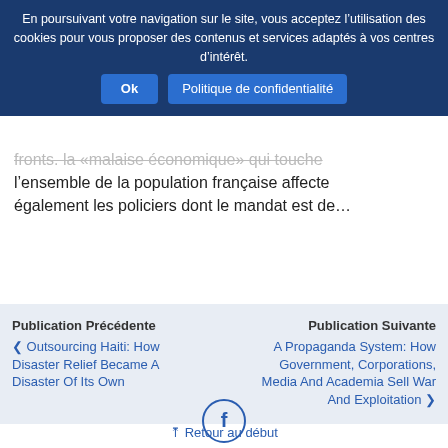En poursuivant votre navigation sur le site, vous acceptez l'utilisation des cookies pour vous proposer des contenus et services adaptés à vos centres d'intérêt.
Ok | Politique de confidentialité
fronts. la «malaise économique» qui touche l'ensemble de la population française affecte également les policiers dont le mandat est de…
Publication Précédente
‹ Outsourcing Haiti: How Disaster Relief Became A Disaster Of Its Own
Publication Suivante
A Propaganda System: How Government, Corporations, Media And Academia Sell War And Exploitation ›
[Figure (illustration): Facebook icon in a circle outline]
⇪ Retour au début